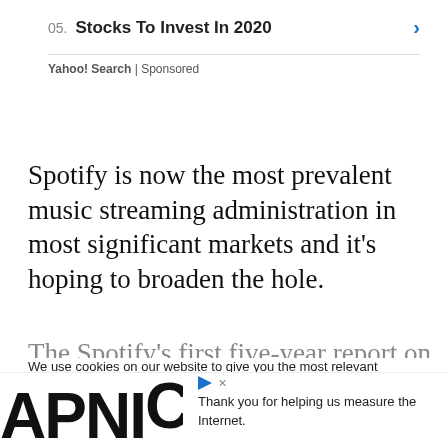05. Stocks To Invest In 2020
Yahoo! Search | Sponsored
Spotify is now the most prevalent music streaming administration in most significant markets and it’s hoping to broaden the hole.
We use cookies on our website to give you the most relevant experience by remembering your preferences and repeat visits. By clicking “Accept”, you consent to the use of ALL the cookies.
Do not sell my personal information.
Thank you for helping us measure the Internet.